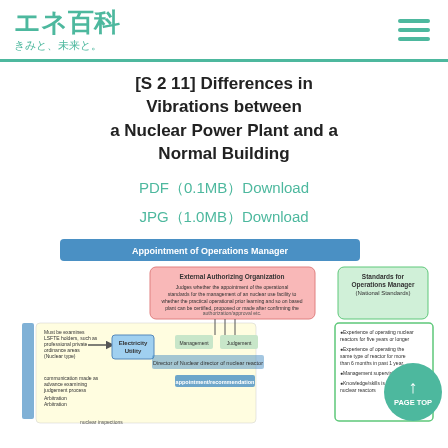エネ百科 きみと、未来と。
[S 2 11] Differences in Vibrations between a Nuclear Power Plant and a Normal Building
PDF（0.1MB）Download
JPG（1.0MB）Download
[Figure (flowchart): Appointment of Operations Manager flowchart showing External Authorizing Organization, Nuclear Regulation Authority, Electricity Utility, and Standards for Operations Manager (National Standards) with connecting arrows and boxes.]